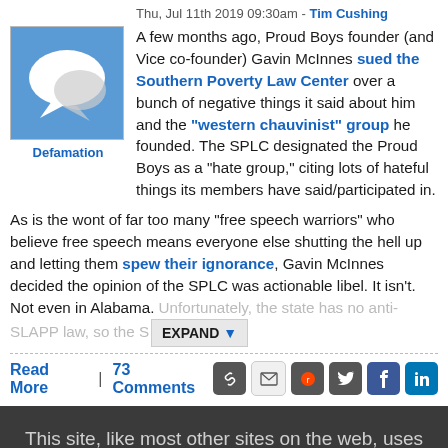Thu, Jul 11th 2019 09:30am - Tim Cushing
[Figure (illustration): Speech bubble icon avatar on blue background]
Defamation
A few months ago, Proud Boys founder (and Vice co-founder) Gavin McInnes sued the Southern Poverty Law Center over a bunch of negative things it said about him and the "western chauvinist" group he founded. The SPLC designated the Proud Boys as a “hate group,” citing lots of hateful things its members have said/participated in.
As is the wont of far too many “free speech warriors” who believe free speech means everyone else shutting the hell up and letting them spew their ignorance, Gavin McInnes decided the opinion of the SPLC was actionable libel. It isn’t. Not even in Alabama. Unfortunately, the state has no anti-SLAPP law, so the S… EXPAND
Read More | 73 Comments
This site, like most other sites on the web, uses cookies. For more information, see our privacy policy
GOT IT